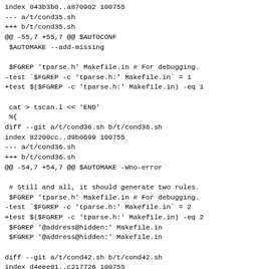index 043b3b0..a870902 100755
--- a/t/cond35.sh
+++ b/t/cond35.sh
@@ -55,7 +55,7 @@ $AUTOCONF
 $AUTOMAKE --add-missing

 $FGREP 'tparse.h' Makefile.in # For debugging.
-test `$FGREP -c 'tparse.h:' Makefile.in` = 1
+test $($FGREP -c 'tparse.h:' Makefile.in) -eq 1

 cat > tscan.l << 'END'
 %{
diff --git a/t/cond36.sh b/t/cond36.sh
index 82200cc..d9b0699 100755
--- a/t/cond36.sh
+++ b/t/cond36.sh
@@ -54,7 +54,7 @@ $AUTOMAKE -Wno-error

 # Still and all, it should generate two rules.
 $FGREP 'tparse.h' Makefile.in # For debugging.
-test `$FGREP -c 'tparse.h:' Makefile.in` = 2
+test $($FGREP -c 'tparse.h:' Makefile.in) -eq 2
 $FGREP '@address@hidden:' Makefile.in
 $FGREP '@address@hidden:' Makefile.in

diff --git a/t/cond42.sh b/t/cond42.sh
index d4eee01..c217726 100755
--- a/t/cond42.sh
+++ b/t/cond42.sh
@@ -54,6 +54,6 @@ _AM_COND_ENDIF/'